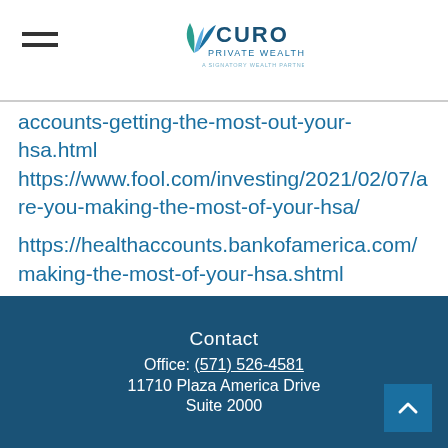CURO PRIVATE WEALTH
accounts-getting-the-most-out-your-hsa.html https://www.fool.com/investing/2021/02/07/are-you-making-the-most-of-your-hsa/
https://healthaccounts.bankofamerica.com/making-the-most-of-your-hsa.shtml
https://savantwealth.com/savant-views-news/article/health-savings-account-hsa/
Contact Office: (571) 526-4581 11710 Plaza America Drive Suite 2000